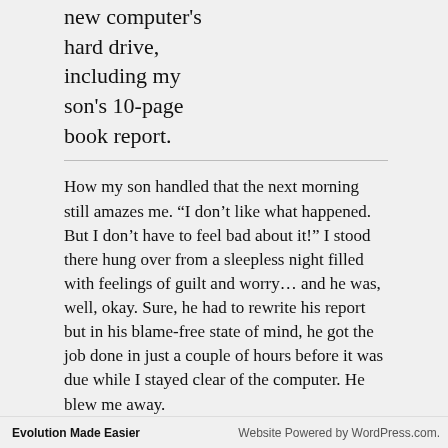new computer's hard drive, including my son's 10-page book report.
How my son handled that the next morning still amazes me. “I don’t like what happened. But I don’t have to feel bad about it!” I stood there hung over from a sleepless night filled with feelings of guilt and worry… and he was, well, okay. Sure, he had to rewrite his report but in his blame-free state of mind, he got the job done in just a couple of hours before it was due while I stayed clear of the computer. He blew me away.
Maybe he was able to come up with his simple yet sublime philosophy for life because the part of the brain
Evolution Made Easier   Website Powered by WordPress.com.